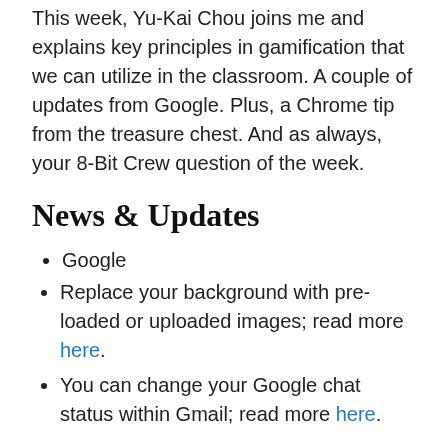This week, Yu-Kai Chou joins me and explains key principles in gamification that we can utilize in the classroom. A couple of updates from Google. Plus, a Chrome tip from the treasure chest. And as always, your 8-Bit Crew question of the week.
News & Updates
Google
Replace your background with pre-loaded or uploaded images; read more here.
You can change your Google chat status within Gmail; read more here.
Treasure Chest: Using Gradients
Gradients add a nice aesthetic to presentations rather than using solid colors.